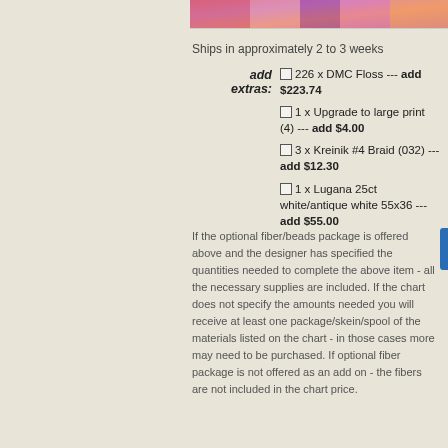[Figure (photo): Colorful cross-stitch or embroidery pattern image at the top of the page]
Ships in approximately 2 to 3 weeks
add extras: 226 x DMC Floss --- add $223.74 | 1 x Upgrade to large print (4) --- add $4.00 | 3 x Kreinik #4 Braid (032) --- add $12.30 | 1 x Lugana 25ct white/antique white 55x36 --- add $55.00
If the optional fiber/beads package is offered above and the designer has specified the quantities needed to complete the above item - all the necessary supplies are included. If the chart does not specify the amounts needed you will receive at least one package/skein/spool of the materials listed on the chart - in those cases more may need to be purchased. If optional fiber package is not offered as an add on - the fibers are not included in the chart price.